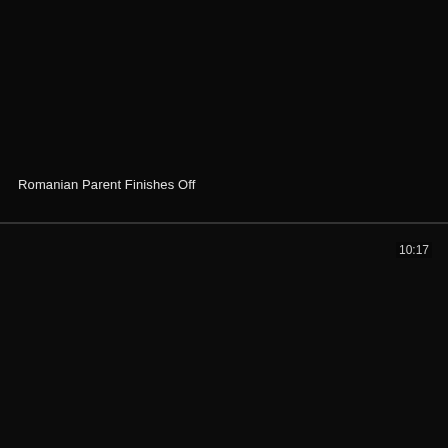[Figure (screenshot): Dark/black video thumbnail panel, top half]
Romanian Parent Finishes Off
[Figure (screenshot): Dark/black video thumbnail panel, bottom half, with duration stamp 10:17 in top right]
10:17